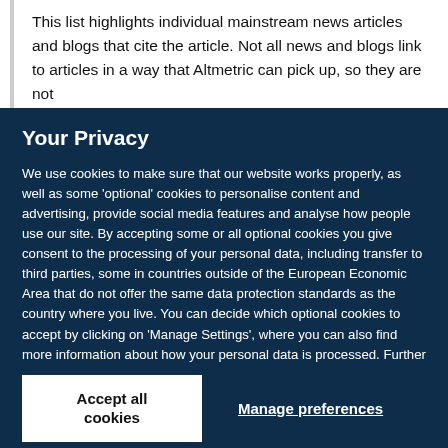This list highlights individual mainstream news articles and blogs that cite the article. Not all news and blogs link to articles in a way that Altmetric can pick up, so they are not
Your Privacy
We use cookies to make sure that our website works properly, as well as some 'optional' cookies to personalise content and advertising, provide social media features and analyse how people use our site. By accepting some or all optional cookies you give consent to the processing of your personal data, including transfer to third parties, some in countries outside of the European Economic Area that do not offer the same data protection standards as the country where you live. You can decide which optional cookies to accept by clicking on 'Manage Settings', where you can also find more information about how your personal data is processed. Further information can be found in our privacy policy.
Accept all cookies
Manage preferences